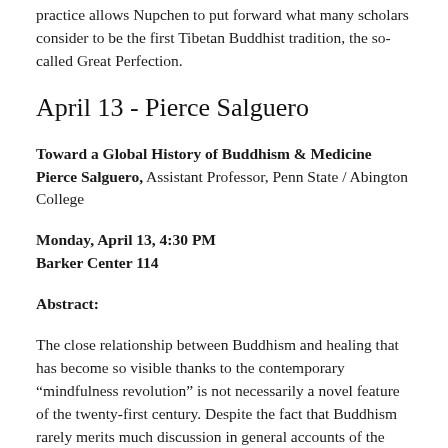practice allows Nupchen to put forward what many scholars consider to be the first Tibetan Buddhist tradition, the so-called Great Perfection.
April 13 - Pierce Salguero
Toward a Global History of Buddhism & Medicine
Pierce Salguero, Assistant Professor, Penn State / Abington College
Monday, April 13, 4:30 PM
Barker Center 114
Abstract:
The close relationship between Buddhism and healing that has become so visible thanks to the contemporary “mindfulness revolution” is not necessarily a novel feature of the twenty-first century. Despite the fact that Buddhism rarely merits much discussion in general accounts of the history of medicine,